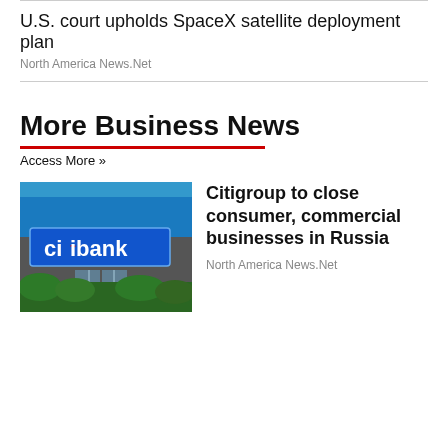U.S. court upholds SpaceX satellite deployment plan
North America News.Net
More Business News
Access More »
[Figure (photo): Exterior of a Citibank branch with blue signage and green bushes]
Citigroup to close consumer, commercial businesses in Russia
North America News.Net